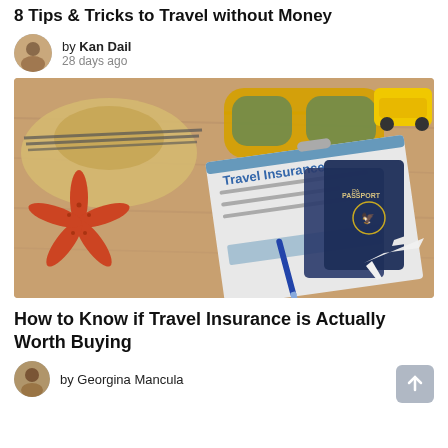8 Tips & Tricks to Travel without Money
by Kan Dail
28 days ago
[Figure (photo): Travel insurance document on a clipboard with passports, sunglasses, a straw hat, a starfish, a toy yellow car, a pen, and a model airplane on a wooden table background.]
How to Know if Travel Insurance is Actually Worth Buying
by Georgina Mancula